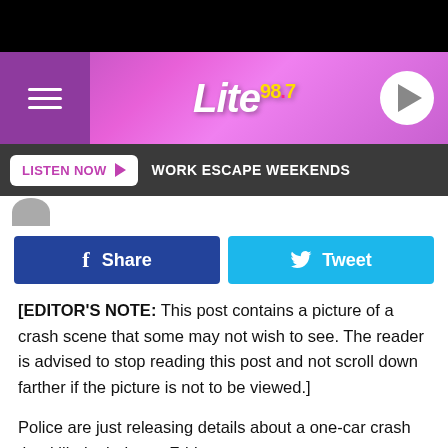[Figure (screenshot): Black bar at top of mobile browser]
Lite 98.7 radio station website header with hamburger menu, logo, and play button
[Figure (screenshot): Navigation bar with LISTEN NOW button and WORK ESCAPE WEEKENDS text]
LISTEN NOW  WORK ESCAPE WEEKENDS
[Figure (screenshot): Facebook Share and Twitter Tweet buttons]
[EDITOR'S NOTE:   This post contains a picture of a crash scene that some may not wish to see.  The reader is advised to stop reading this post and not scroll down farther if the picture is not to be viewed.]
Police are just releasing details about a one-car crash that killed a baby on Friday.
New York State Police were called to State Route 49 near Adrian Circle in the Oswego county town of Constantia, New